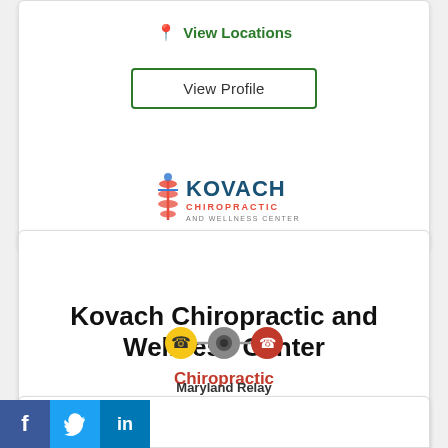View Locations
View Profile
[Figure (logo): Kovach Chiropractic and Wellness Center logo with spine icon]
Kovach Chiropractic and Wellness Center
Chiropractic
View Locations
View Profile
[Figure (logo): Maryland Relay Dial 7-1-1 logo with colored circles]
Maryland Relay
Dial 7-1-1
[Figure (infographic): Social media icons: Facebook, Twitter, LinkedIn]